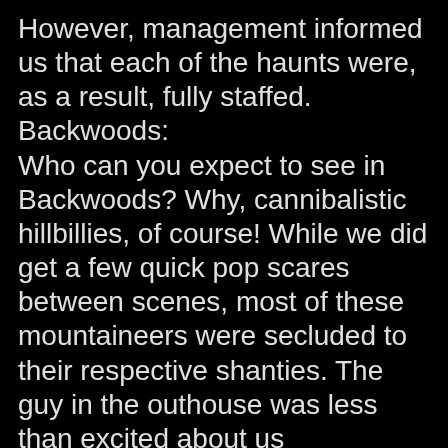However, management informed us that each of the haunts were, as a result, fully staffed.
Backwoods:
Who can you expect to see in Backwoods? Why, cannibalistic hillbillies, of course! While we did get a few quick pop scares between scenes, most of these mountaineers were secluded to their respective shanties. The guy in the outhouse was less than excited about us interrupting his rump's ritual, the ladies at the camper politely welcomed us (their supper) to their residence, and Papa angrily seid his heve on us/rituslished to